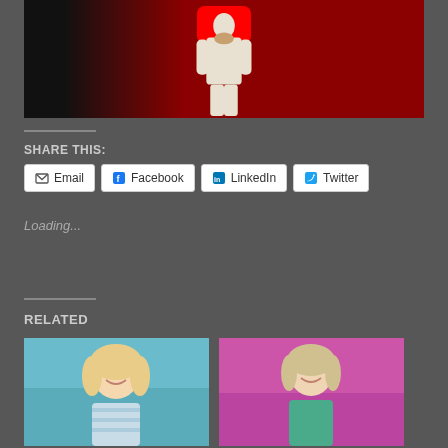[Figure (screenshot): YouTube video thumbnail showing a person in a white outfit standing against a dark red background, with a YouTube play button icon overlaid at the top center.]
SHARE THIS:
Email   Facebook   LinkedIn   Twitter
Loading...
RELATED
[Figure (photo): A smiling blonde woman in a blue and white outfit against a teal/blue background.]
[Figure (photo): A smiling woman in a teal/green dress against a pink/magenta background.]